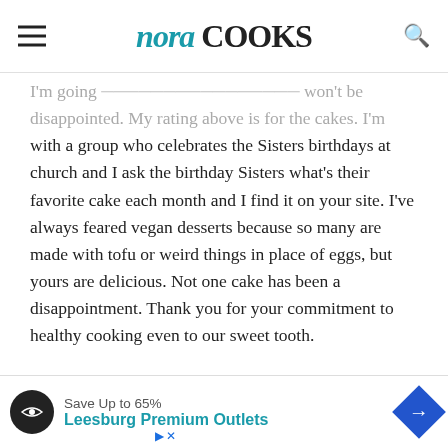nora COOKS
I'm going [text cut off] won't be disappointed. My rating above is for the cakes. I'm with a group who celebrates the Sisters birthdays at church and I ask the birthday Sisters what's their favorite cake each month and I find it on your site. I've always feared vegan desserts because so many are made with tofu or weird things in place of eggs, but yours are delicious. Not one cake has been a disappointment. Thank you for your commitment to healthy cooking even to our sweet tooth.
NORA — JUNE 2, 2022 @ 12:42 PM REPLY
Thank you for your wonderful feedback on
[Figure (other): Advertisement banner: Save Up to 65% - Leesburg Premium Outlets]